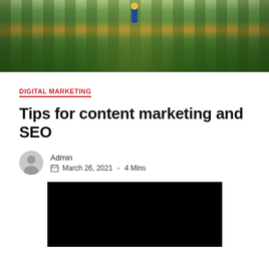[Figure (photo): Aerial/perspective view of a greenhouse with rows of plants and a person walking between the rows]
DIGITAL MARKETING
Tips for content marketing and SEO
Admin
March 26, 2021  -  4 Mins
[Figure (photo): Black rectangle placeholder image]